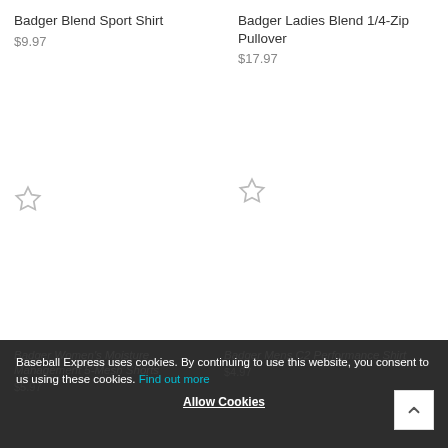Badger Blend Sport Shirt
$9.97
Badger Ladies Blend 1/4-Zip Pullover
$17.97
Badger Women's Moisture Management 5-Mesh Shorts
$5.97
Badger Mens C2 Performance Shirt
$4.97
Baseball Express uses cookies. By continuing to use this website, you consent to us using these cookies. Find out more
Allow Cookies